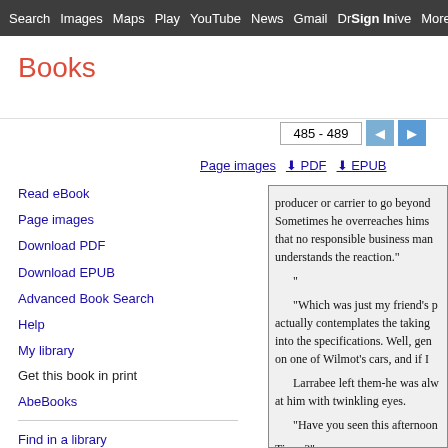Search  Images  Maps  Play  YouTube  News  Gmail  Drive  More  Sign in  ⚙
Books
485 - 489
Page images  ⬇ PDF  ⬇ EPUB
Read eBook
Page images
Download PDF
Download EPUB
Advanced Book Search
Help
My library
Get this book in print
AbeBooks
Find in a library
All sellers »
producer or carrier to go beyond Sometimes he overreaches hims that no responsible business man understands the reaction."

"

"Which was just my friend's p actually contemplates the taking into the specifications. Well, gen on one of Wilmot's cars, and if I

Larrabee left them-he was alw at him with twinkling eyes.

"Have you seen this afternoon Times?"